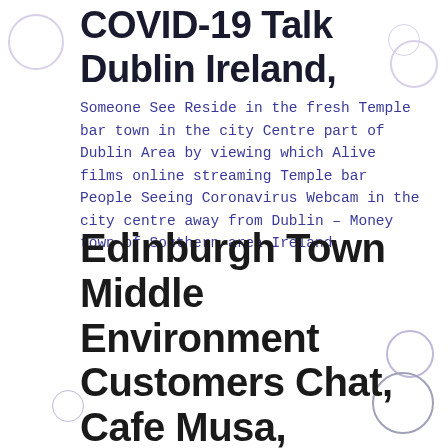COVID-19 Talk Dublin Ireland,
Someone See Reside in the fresh Temple bar town in the city Centre part of Dublin Area by viewing which Alive films online streaming Temple bar People Seeing Coronavirus Webcam in the city centre away from Dublin – Money town of Southern area Ireland
Edinburgh Town Middle Environment Customers Chat, Cafe Musa, Edinburgh,
Take a look at most recent Live Streaming PartyOnCam Sexcam Area Hub regarding this amazing Sexcam disregarding the Mound in Edinburgh, Scotland for the PartyOnCam Real time Online streaming Web cam Route